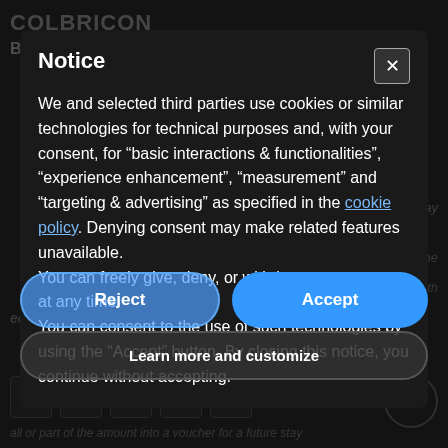[Figure (screenshot): Background website content showing a hotel/resort page (COLBRICON, Beauty & Relax) with dark overlay, partially visible text about cancellation policies and COVID-19]
Notice
We and selected third parties use cookies or similar technologies for technical purposes and, with your consent, for “basic interactions & functionalities”, “experience enhancement”, “measurement” and “targeting & advertising” as specified in the cookie policy. Denying consent may make related features unavailable.
You can freely give, deny, or withdraw your consent at any time.
You can consent to the use of such technologies by using the “Accept” button. By closing this notice, you continue without accepting.
Reject
Accept
Learn more and customize